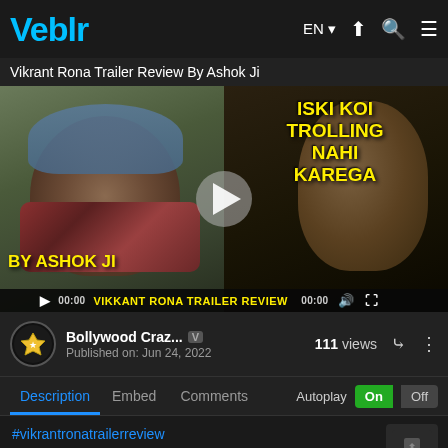Veblr
Vikrant Rona Trailer Review By Ashok Ji
[Figure (screenshot): Video thumbnail showing a man in a blue beanie cap on left and a movie character on right with text overlay: ISKI KOI TROLLING NAHI KAREGA, BY ASHOK JI, VIKKANT RONA TRAILER REVIEW. Play button in center. Video controls at bottom showing 00:00 timestamps.]
Bollywood Craz... V
Published on: Jun 24, 2022
111 views
Description  Embed  Comments  Autoplay On Off
#vikrantronatrailerreview
Vikrant Rona Trailer Review By Ashok Ji